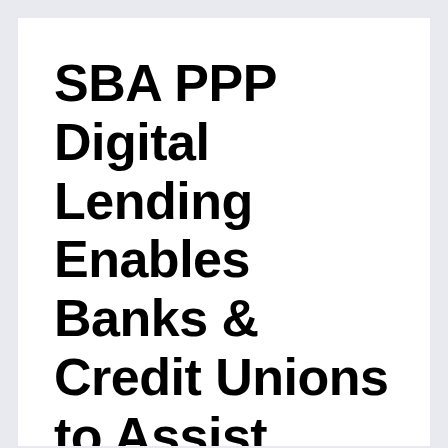SBA PPP Digital Lending Enables Banks & Credit Unions to Assist Small Businesses